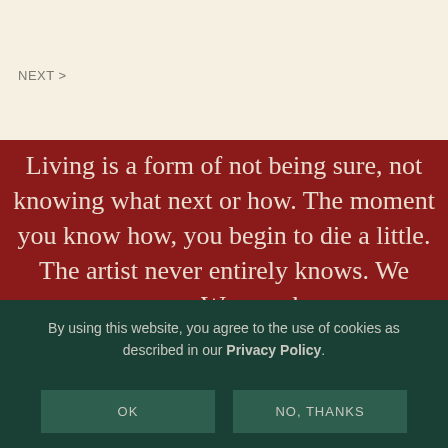NEXT >
Living is a form of not being sure, not knowing what next or how. The moment you know how, you begin to die a little. The artist never entirely knows. We guess. We may be
By using this website, you agree to the use of cookies as described in our Privacy Policy.
OK
NO, THANKS